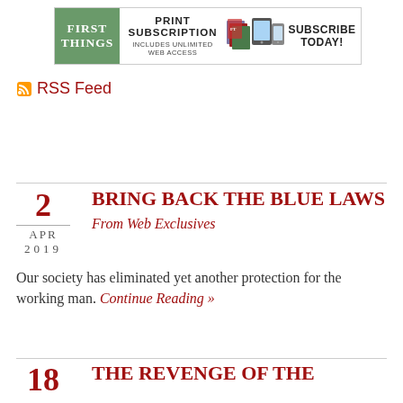[Figure (illustration): First Things magazine subscription banner ad. Green box with 'FIRST THINGS' logo on left, center text reads 'PRINT SUBSCRIPTION INCLUDES UNLIMITED WEB ACCESS' with device images, right side says 'SUBSCRIBE TODAY!']
RSS Feed
BRING BACK THE BLUE LAWS
From Web Exclusives
Our society has eliminated yet another protection for the working man. Continue Reading »
THE REVENGE OF THE